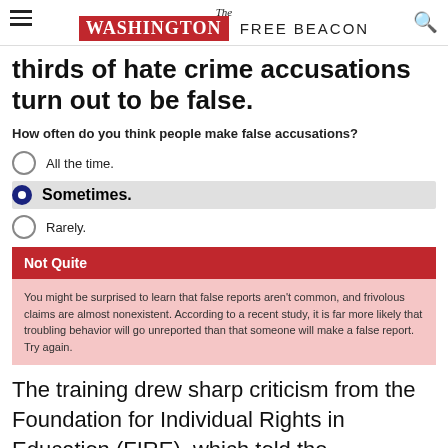The Washington Free Beacon
thirds of hate crime accusations turn out to be false.
How often do you think people make false accusations?
All the time.
Sometimes.
Rarely.
Not Quite
You might be surprised to learn that false reports aren't common, and frivolous claims are almost nonexistent. According to a recent study, it is far more likely that troubling behavior will go unreported than that someone will make a false report. Try again.
The training drew sharp criticism from the Foundation for Individual Rights in Education (FIRE), which told the Washington Free Beacon that Boston University was violating its own free